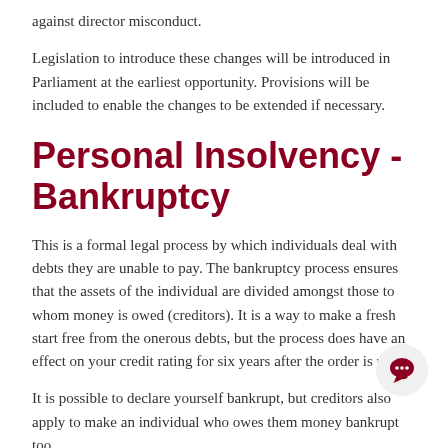against director misconduct.
Legislation to introduce these changes will be introduced in Parliament at the earliest opportunity.  Provisions will be included to enable the changes to be extended if necessary.
Personal Insolvency - Bankruptcy
This is a formal legal process by which individuals deal with debts they are unable to pay. The bankruptcy process ensures that the assets of the individual are divided amongst those to whom money is owed (creditors).  It is a way to make a fresh start free from the onerous debts, but the process does have an effect on your credit rating for six years after the order is made.
It is possible to declare yourself bankrupt, but creditors also apply to make an individual who owes them money bankrupt too.